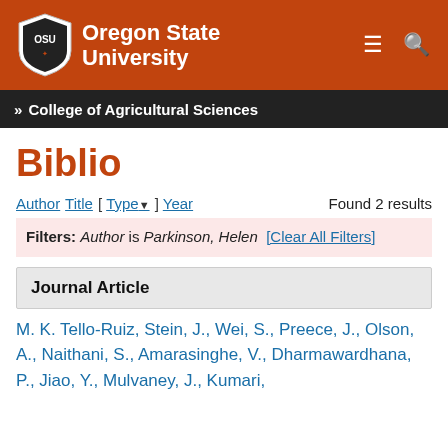[Figure (logo): Oregon State University logo with shield and name on orange background]
» College of Agricultural Sciences
Biblio
Author Title [ Type▼ ] Year   Found 2 results
Filters: Author is Parkinson, Helen [Clear All Filters]
Journal Article
M. K. Tello-Ruiz, Stein, J., Wei, S., Preece, J., Olson, A., Naithani, S., Amarasinghe, V., Dharmawardhana, P., Jiao, Y., Mulvaney, J., Kumari,